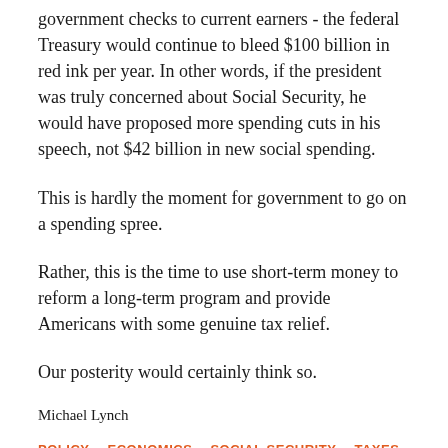government checks to current earners - the federal Treasury would continue to bleed $100 billion in red ink per year. In other words, if the president was truly concerned about Social Security, he would have proposed more spending cuts in his speech, not $42 billion in new social spending.
This is hardly the moment for government to go on a spending spree.
Rather, this is the time to use short-term money to reform a long-term program and provide Americans with some genuine tax relief.
Our posterity would certainly think so.
Michael Lynch
POLICY   ECONOMICS   SOCIAL SECURITY   TAXES